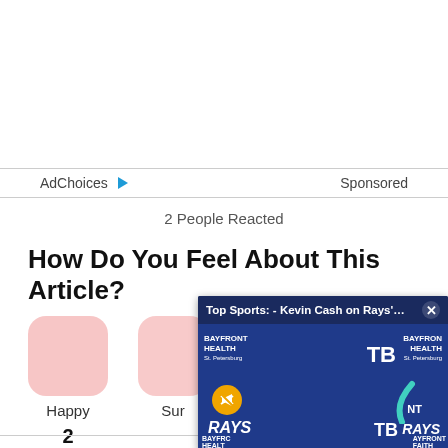AdChoices ▷  Sponsored
2 People Reacted
How Do You Feel About This Article?
Happy  2
Sur
[Figure (screenshot): Video overlay showing Tampa Bay Rays manager Kevin Cash at a press conference with Bayfront Health branding. Header reads: Top Sports: - Kevin Cash on Rays' 8-... with a close button.]